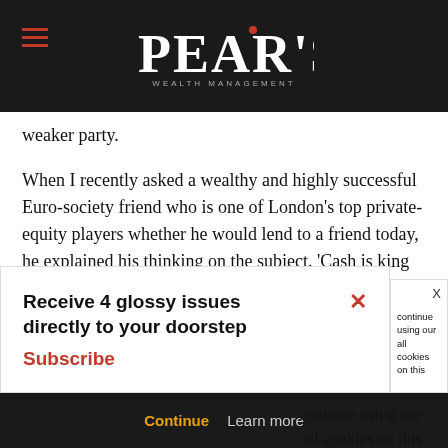SPEAR'S
weaker party.
When I recently asked a wealthy and highly successful Euro-society friend who is one of London's top private-equity players whether he would lend to a friend today, he explained his thinking on the subject. ‘Cash is king at the moment,’ he told me. ‘If a good friend needs a few thousand, I’ll just give it to him — no questions asked. I’ve learnt that is always the best way. My firm has a £50 ... xpires at the end ... the money now,
Receive 4 glossy issues directly to your doorstep Subscribe
continue using our all cookies on this
Continue  Learn more